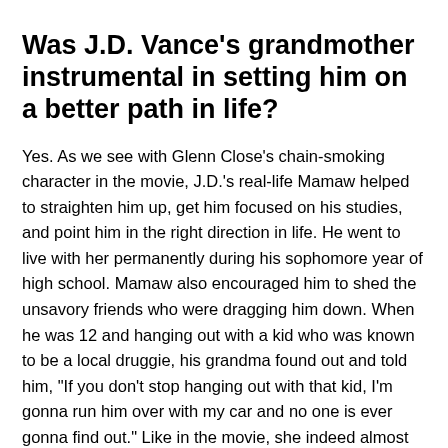Was J.D. Vance's grandmother instrumental in setting him on a better path in life?
Yes. As we see with Glenn Close's chain-smoking character in the movie, J.D.'s real-life Mamaw helped to straighten him up, get him focused on his studies, and point him in the right direction in life. He went to live with her permanently during his sophomore year of high school. Mamaw also encouraged him to shed the unsavory friends who were dragging him down. When he was 12 and hanging out with a kid who was known to be a local druggie, his grandma found out and told him, "If you don't stop hanging out with that kid, I'm gonna run him over with my car and no one is ever gonna find out." Like in the movie, she indeed almost always had a cigarette hanging out of her mouth.